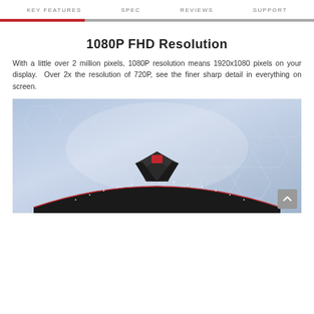KEY FEATURES   SPEC   REVIEWS   SUPPORT
1080P FHD Resolution
With a little over 2 million pixels, 1080P resolution means 1920x1080 pixels on your display.  Over 2x the resolution of 720P, see the finer sharp detail in everything on screen.
[Figure (photo): Gaming monitor (curved, black with red accent) viewed from above against a blue hexagonal pattern background]